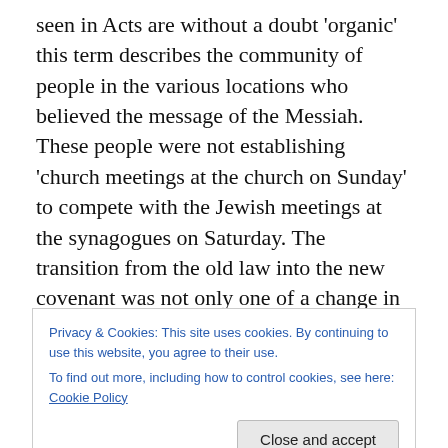seen in Acts are without a doubt 'organic' this term describes the community of people in the various locations who believed the message of the Messiah. These people were not establishing 'church meetings at the church on Sunday' to compete with the Jewish meetings at the synagogues on Saturday. The transition from the old law into the new covenant was not only one of a change in message [law versus grace] but also a transition from shadows to reality. All the ways of worship and 'liturgical' form were part of the old law. The temple and priest and altar were important types and symbols of what was to
Privacy & Cookies: This site uses cookies. By continuing to use this website, you agree to their use.
To find out more, including how to control cookies, see here: Cookie Policy
well. The actually a meal. The gathering on the first day o